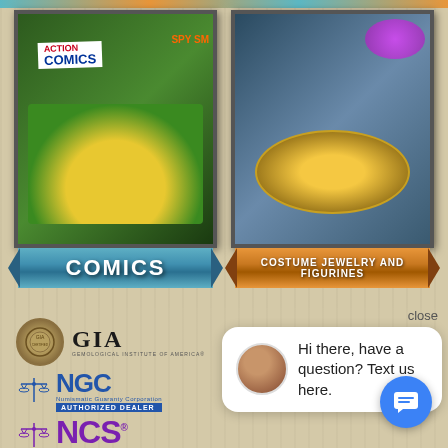[Figure (screenshot): Mobile website screenshot showing two product category panels (Comics and Costume Jewelry and Figurines) with ribbon banners, certification logos (GIA, NGC, NCS, PMG), and a live chat popup overlay with text 'Hi there, have a question? Text us here.']
COMICS
COSTUME JEWELRY AND FIGURINES
[Figure (logo): GIA Gemological Institute of America seal and logo]
[Figure (logo): NGC Numismatic Guaranty Corporation Authorized Dealer logo]
[Figure (logo): NCS Numismatic Conservation Services logo]
[Figure (logo): PMG Authorized Member/Dealer logo]
Hi there, have a question? Text us here.
close